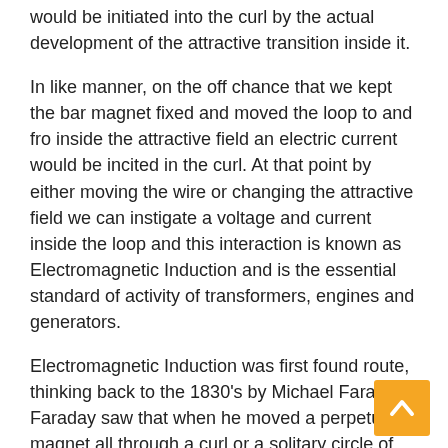would be initiated into the curl by the actual development of the attractive transition inside it.
In like manner, on the off chance that we kept the bar magnet fixed and moved the loop to and fro inside the attractive field an electric current would be incited in the curl. At that point by either moving the wire or changing the attractive field we can instigate a voltage and current inside the loop and this interaction is known as Electromagnetic Induction and is the essential standard of activity of transformers, engines and generators.
Electromagnetic Induction was first found route, thinking back to the 1830's by Michael Faraday. Faraday saw that when he moved a perpetual magnet all through a curl or a solitary circle of wire it prompted an ElectroMotive Force or emf, at the end of the day a Voltage, and thusly a current was delivered.